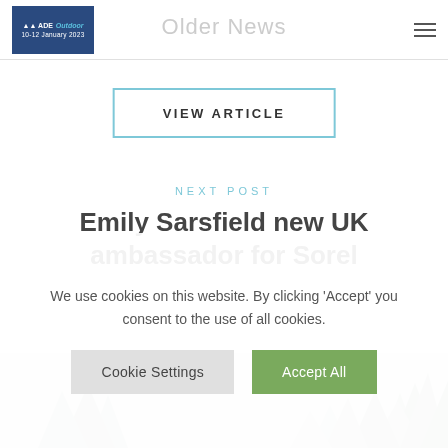Older News
VIEW ARTICLE
NEXT POST
Emily Sarsfield new UK ambassador for Sorel
[Figure (illustration): Winter snowy pine trees background illustration in light grey tones]
We use cookies on this website. By clicking 'Accept' you consent to the use of all cookies.
Cookie Settings  Accept All